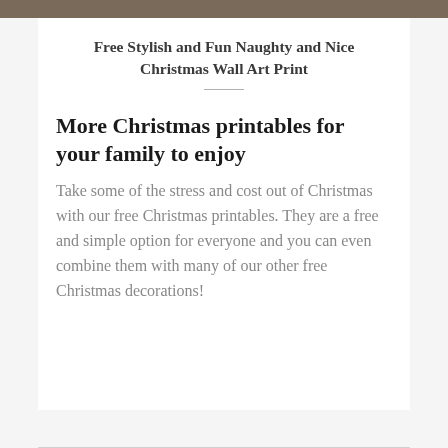[Figure (photo): Partial image strip visible at top of page, showing a dark/brown toned photograph cropped at the top edge.]
Free Stylish and Fun Naughty and Nice Christmas Wall Art Print
More Christmas printables for your family to enjoy
Take some of the stress and cost out of Christmas with our free Christmas printables. They are a free and simple option for everyone and you can even combine them with many of our other free Christmas decorations!